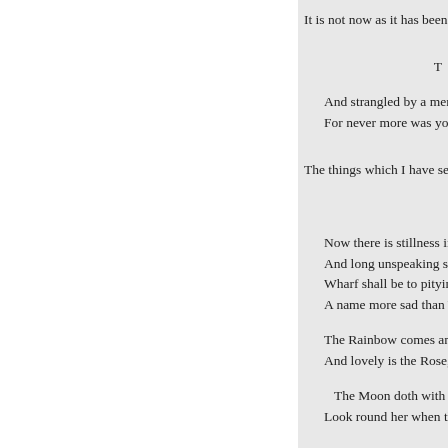It is not now as it has been of y
T
And strangled by a merciles
For never more was young b
The things which I have seen b
Now there is stillness in the
And long unspeaking sorro
Wharf shall be to pitying he
A name more sad than Yarr
The Rainbow comes and go
And lovely is the Rose,-
The Moon doth with deli
Look round her when the he